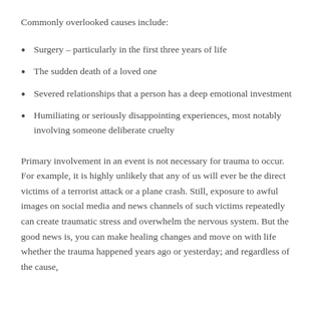Commonly overlooked causes include:
Surgery – particularly in the first three years of life
The sudden death of a loved one
Severed relationships that a person has a deep emotional investment
Humiliating or seriously disappointing experiences, most notably involving someone deliberate cruelty
Primary involvement in an event is not necessary for trauma to occur. For example, it is highly unlikely that any of us will ever be the direct victims of a terrorist attack or a plane crash. Still, exposure to awful images on social media and news channels of such victims repeatedly can create traumatic stress and overwhelm the nervous system. But the good news is, you can make healing changes and move on with life whether the trauma happened years ago or yesterday; and regardless of the cause,